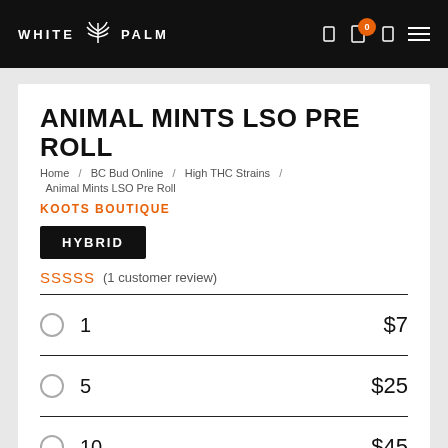WHITE PALM
ANIMAL MINTS LSO PRE ROLL
Home / BC Bud Online / High THC Strains / Animal Mints LSO Pre Roll
KOOTS BOUTIQUE
HYBRID
SSSSS (1 customer review)
| Qty | Price |
| --- | --- |
| 1 | $7 |
| 5 | $25 |
| 10 | $45 |